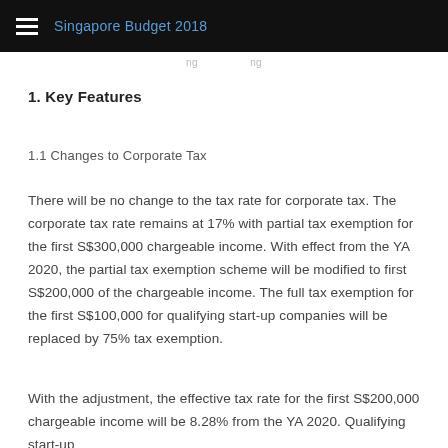Singapore Budget 2018
1. Key Features
1.1 Changes to Corporate Tax
There will be no change to the tax rate for corporate tax. The corporate tax rate remains at 17% with partial tax exemption for the first S$300,000 chargeable income. With effect from the YA 2020, the partial tax exemption scheme will be modified to first S$200,000 of the chargeable income. The full tax exemption for the first S$100,000 for qualifying start-up companies will be replaced by 75% tax exemption.
With the adjustment, the effective tax rate for the first S$200,000 chargeable income will be 8.28% from the YA 2020. Qualifying start-up